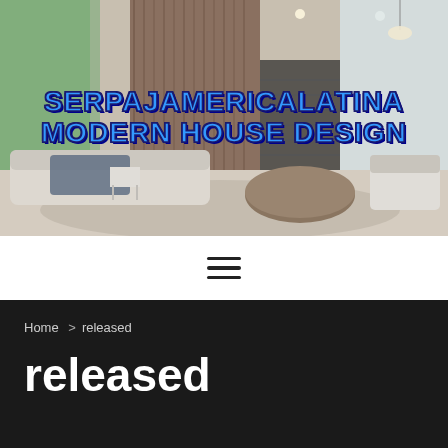[Figure (photo): Interior of a modern luxury living room with large windows, light sofa, round wooden coffee table, and staircase in background. Overlay text reads SERPAJAMERICALATINA MODERN HOUSE DESIGN in bold blue letters.]
[Figure (infographic): Hamburger menu icon with three horizontal lines on white background.]
Home > released
released